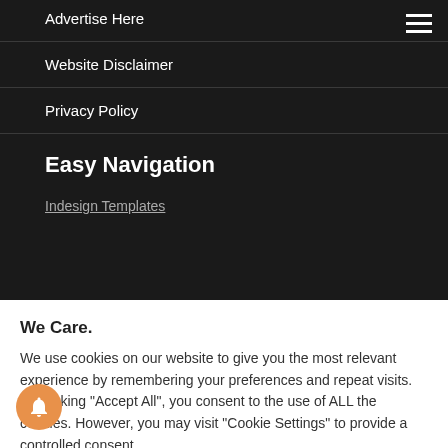Advertise Here
Website Disclaimer
Privacy Policy
Easy Navigation
Indesign Templates
We Care.
We use cookies on our website to give you the most relevant experience by remembering your preferences and repeat visits. By clicking "Accept All", you consent to the use of ALL the cookies. However, you may visit "Cookie Settings" to provide a controlled consent.
Cookie Settings
Accept All